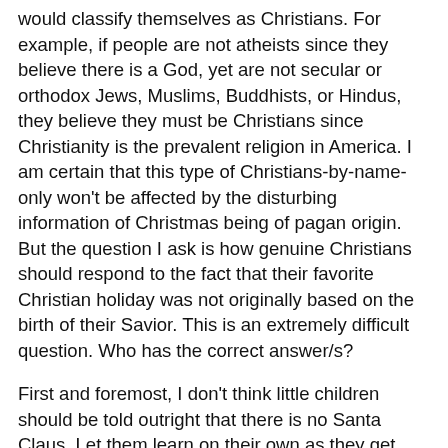would classify themselves as Christians. For example, if people are not atheists since they believe there is a God, yet are not secular or orthodox Jews, Muslims, Buddhists, or Hindus, they believe they must be Christians since Christianity is the prevalent religion in America. I am certain that this type of Christians-by-name-only won't be affected by the disturbing information of Christmas being of pagan origin. But the question I ask is how genuine Christians should respond to the fact that their favorite Christian holiday was not originally based on the birth of their Savior. This is an extremely difficult question. Who has the correct answer/s?
First and foremost, I don't think little children should be told outright that there is no Santa Claus. Let them learn on their own as they get older, because for kids, Christmastime is the most exciting time of the year, to say the least. Older children, as they start to understand the importance of Jesus Christ in their parents' lives, should be told how Christmas originated, and go easy on their reaction. Remember, they still are kids. Christmas as a holiday for kids is okay. But with the commercialism of Christmas along with all the money spent on that holiday, it could/should be classified as a